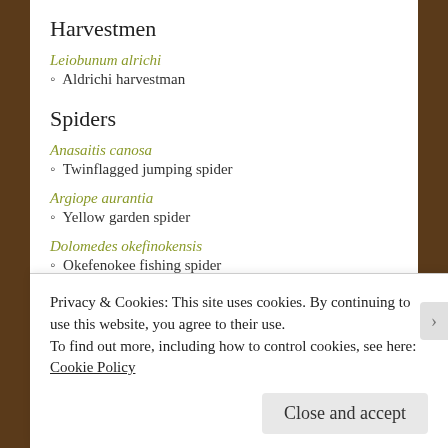Harvestmen
Leiobunum alrichi
◦ Aldrichi harvestman
Spiders
Anasaitis canosa
◦ Twinflagged jumping spider
Argiope aurantia
◦ Yellow garden spider
Dolomedes okefinokensis
◦ Okefenokee fishing spider
Privacy & Cookies: This site uses cookies. By continuing to use this website, you agree to their use. To find out more, including how to control cookies, see here: Cookie Policy